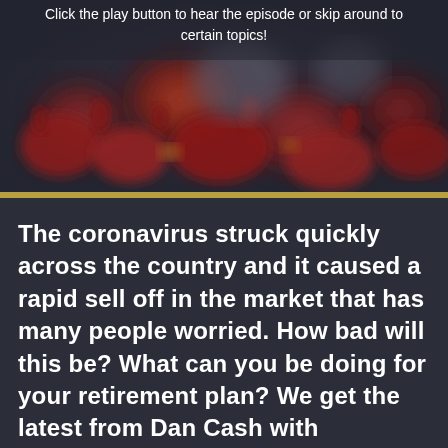[Figure (photo): Dark background with blurred 3D-rendered red coronavirus particles/molecules against a dark gray background]
Click the play button to hear the episode or skip around to certain topics!
The coronavirus struck quickly across the country and it caused a rapid sell off in the market that has many people worried. How bad will this be? What can you be doing for your retirement plan? We get the latest from Dan Cash with